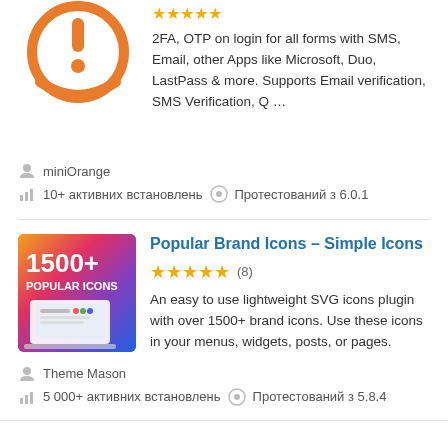[Figure (logo): Orange circular logo with an exclamation/alert icon for a 2FA security plugin]
2FA, OTP on login for all forms with SMS, Email, other Apps like Microsoft, Duo, LastPass & more. Supports Email verification, SMS Verification, Q …
miniOrange
10+ активних встановлень  Протестований з 6.0.1
[Figure (illustration): Colorful banner with gradient background (orange to purple/blue) showing '1500+ POPULAR ICONS' text with a laptop illustration displaying a website with icons]
Popular Brand Icons – Simple Icons
(8) - 5 stars rating
An easy to use lightweight SVG icons plugin with over 1500+ brand icons. Use these icons in your menus, widgets, posts, or pages.
Theme Mason
5 000+ активних встановлень  Протестований з 5.8.4